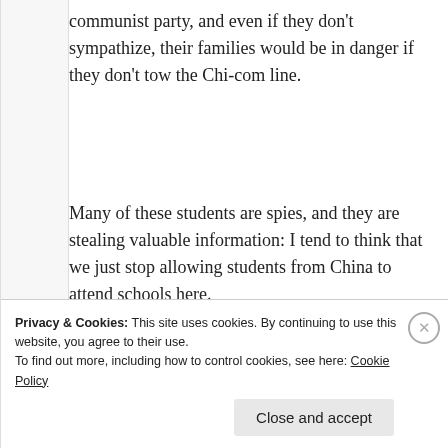communist party, and even if they don't sympathize, their families would be in danger if they don't tow the Chi-com line.
Many of these students are spies, and they are stealing valuable information: I tend to think that we just stop allowing students from China to attend schools here.
Thank you for another great post, Sandomina 🙂
★ Liked by 1 person
Privacy & Cookies: This site uses cookies. By continuing to use this website, you agree to their use.
To find out more, including how to control cookies, see here: Cookie Policy
Close and accept